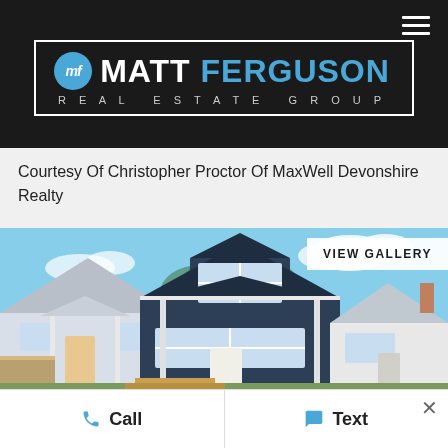[Figure (logo): Matt Ferguson Real Estate Group logo — circular 'mf' badge in blue, bold white and blue text on dark background]
Courtesy Of Christopher Proctor Of MaxWell Devonshire Realty
[Figure (photo): Exterior photo of a modern two-storey residential home with dark navy blue siding, white trim, front porch, and neighbouring white house. Blue sky background.]
VIEW GALLERY
Call
Text